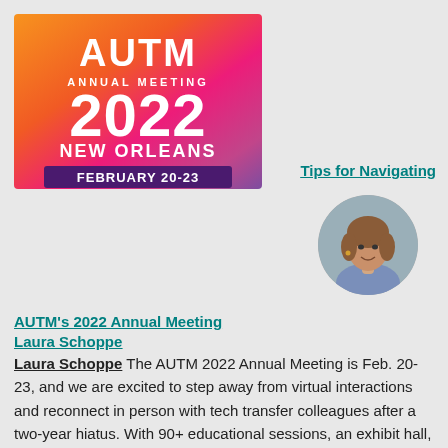[Figure (logo): AUTM Annual Meeting 2022 New Orleans February 20-23 logo with colorful gradient background (orange, pink, purple)]
Tips for Navigating
[Figure (photo): Circular headshot photo of Laura Schoppe, a woman with brown hair smiling]
AUTM's 2022 Annual Meeting Laura Schoppe The AUTM 2022 Annual Meeting is Feb. 20-23, and we are excited to step away from virtual interactions and reconnect in person with tech transfer colleagues after a two-year hiatus. With 90+ educational sessions, an exhibit hall, and multiple receptions and networking periods, the meeting can be overwhelming. Here's my advice to help